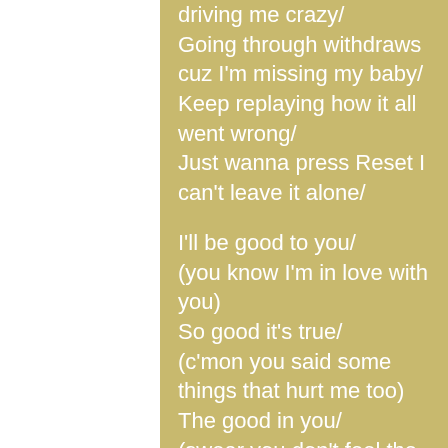driving me crazy/
Going through withdraws cuz I'm missing my baby/
Keep replaying how it all went wrong/
Just wanna press Reset I can't leave it alone/

I'll be good to you/
(you know I'm in love with you)
So good it's true/
(c'mon you said some things that hurt me too)
The good in you/
(swear you don't feel the way that I do)
Deserves the good in me too/
(torturing yourself trying not to miss me too)